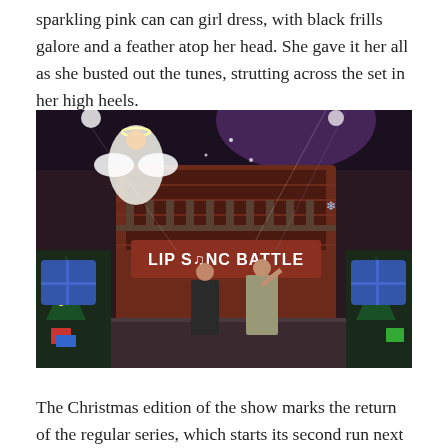sparkling pink can can girl dress, with black frills galore and a feather atop her head. She gave it her all as she busted out the tunes, strutting across the set in her high heels.
[Figure (photo): Performance on the Lip Sync Battle stage with a Christmas theme. A person in an angel costume is elevated above the stage, while two performers in sparkly outfits stand below in front of the Lip Sync Battle sign. The set features Christmas decorations including trees and festive lighting.]
The Christmas edition of the show marks the return of the regular series, which starts its second run next